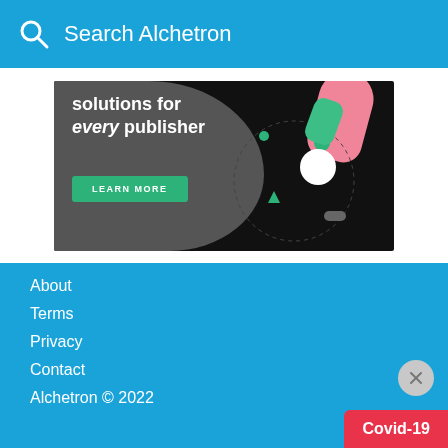Search Alchetron
[Figure (infographic): Advertisement banner with dark background showing 'solutions for every publisher' text with a green Learn More button and decorative colorful graphic elements]
About
Terms
Privacy
Contact
Alchetron © 2022
Covid-19